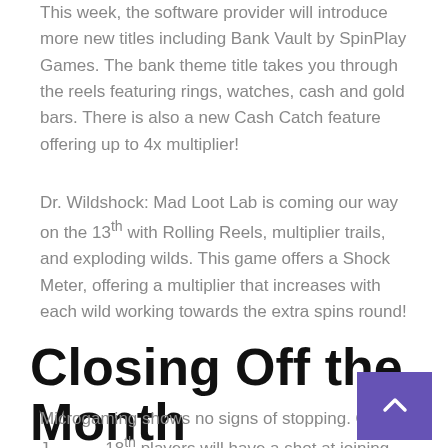This week, the software provider will introduce more new titles including Bank Vault by SpinPlay Games. The bank theme title takes you through the reels featuring rings, watches, cash and gold bars. There is also a new Cash Catch feature offering up to 4x multiplier!
Dr. Wildshock: Mad Loot Lab is coming our way on the 13th with Rolling Reels, multiplier trails, and exploding wilds. This game offers a Shock Meter, offering a multiplier that increases with each wild working towards the extra spins round!
Closing Off the Month
Microgaming shows no signs of stopping. On J... 18th players will have a shot at joining the lovely and exciting Agent Jane Blonde as she takes on...